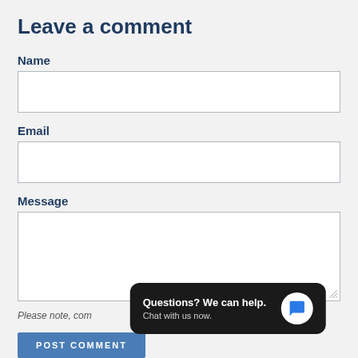Leave a comment
Name
[Figure (other): Empty text input field for Name]
Email
[Figure (other): Empty text input field for Email]
Message
[Figure (other): Empty textarea input field for Message with resize handle]
Please note, comments must be approved before they are published
[Figure (other): Chat popup with text 'Questions? We can help. Chat with us now.' and a blue chat bubble icon on dark background]
[Figure (other): POST COMMENT button in blue]